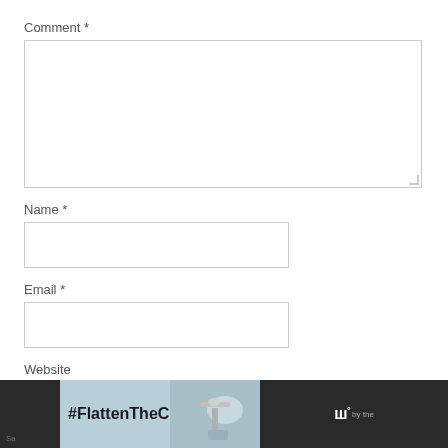Comment *
[Figure (screenshot): Comment text area input field (empty)]
Name *
[Figure (screenshot): Name text input field (empty)]
Email *
[Figure (screenshot): Email text input field (empty)]
Website
[Figure (screenshot): Website text input field (empty)]
[Figure (screenshot): Advertisement banner at bottom: dark background with #FlattenTheCurve text, faucet/handwashing image, and a logo with degree symbol]